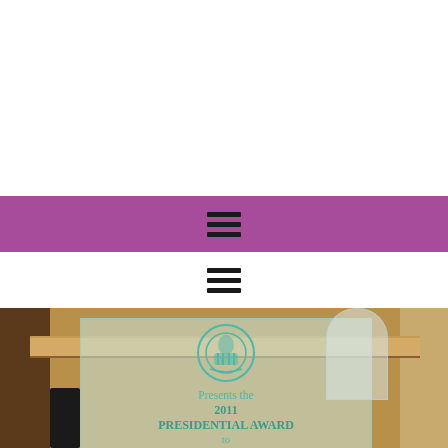[Figure (other): White blank area at top of page, part of a webpage screenshot]
[Figure (other): Purple/magenta horizontal navigation bar with a hamburger menu icon (three horizontal lines) centered on it]
[Figure (other): White area below purple bar with a hamburger menu icon (three horizontal lines)]
[Figure (photo): Photograph of a 2011 Presidential Award plaque on a wooden shelf. The plaque has a teal/turquoise organizational seal logo and text reading 'Presents the 2011 PRESIDENTIAL AWARD to']